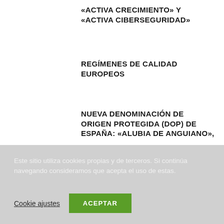«ACTIVA CRECIMIENTO» Y «ACTIVA CIBERSEGURIDAD»
REGÍMENES DE CALIDAD EUROPEOS
NUEVA DENOMINACIÓN DE ORIGEN PROTEGIDA (DOP) DE ESPAÑA: «ALUBIA DE ANGUIANO»,
Este sitio utiliza cookies propias y de terceros. Si continúa navegando consideramos que acepta el uso de estas.
Cookie ajustes
ACEPTAR